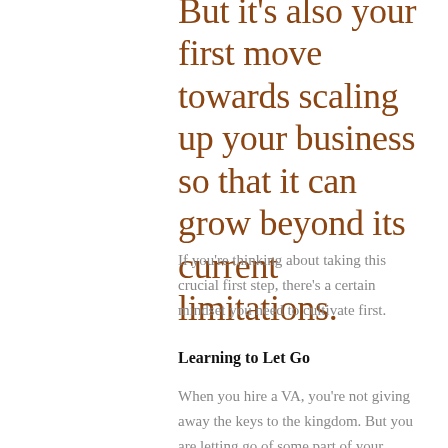But it's also your first move towards scaling up your business so that it can grow beyond its current limitations.
If you're thinking about taking this crucial first step, there's a certain mindset you need to cultivate first.
Learning to Let Go
When you hire a VA, you're not giving away the keys to the kingdom. But you are letting go of some part of your business